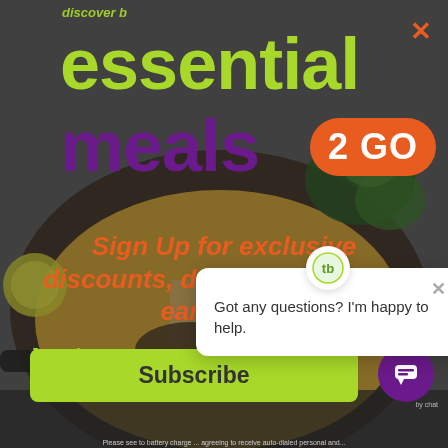[Figure (screenshot): A website popup/modal showing 'essential meals 2 GO' promotional newsletter sign-up. Background shows a food photo (a pot of curry/Asian food with vegetables). Large green text 'essential', large purple text 'meals', orange badge '2 GO'. Orange italic text: 'Sign Up for exclusive discounts, deals, events, and early m...'. Green text: 'Just share your num...'. A green 'Subscribe' button at the bottom. Top right has an orange X close button. Overlaid in front is a chat widget popup bubble with a 'tb' logo avatar, an X close, and text 'Got any questions? I'm happy to help.' A purple circular chat icon button is in the bottom right corner.]
essential meals 2 GO
Sign Up for exclusive discounts, deals, events, and early m...
Just share your num...
Got any questions? I'm happy to help.
Subscribe
Please see to battery charge ... agreeing to receive auto-dialed personal and...